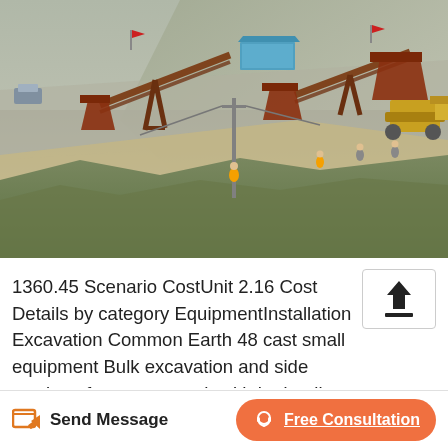[Figure (photo): Aerial view of a mining/quarry site with conveyor belts, heavy equipment including an excavator and loader, a blue building structure, workers on the ground, road/terrain, and mountainous background.]
1360.45 Scenario CostUnit 2.16 Cost Details by category EquipmentInstallation Excavation Common Earth 48 cast small equipment Bulk excavation and side casting of common earth with hydraulic excavator with less than 1 CY capacity. Includes equipment and labor. Cubic yard
Send Message
Free Consultation